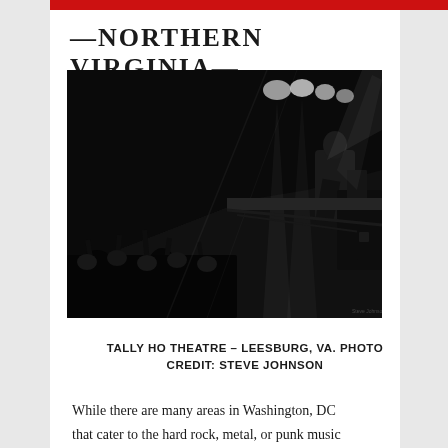—NORTHERN VIRGINIA—
[Figure (photo): Black and white concert photo of a performer on stage with crowd in foreground, dramatic stage lighting visible above at Tally Ho Theatre]
TALLY HO THEATRE – LEESBURG, VA. PHOTO CREDIT: STEVE JOHNSON
While there are many areas in Washington, DC that cater to the hard rock, metal, or punk music